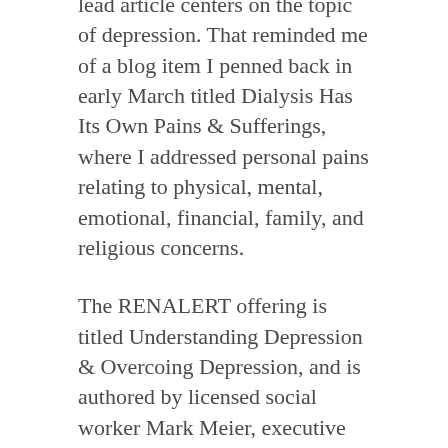lead article centers on the topic of depression. That reminded me of a blog item I penned back in early March titled Dialysis Has Its Own Pains & Sufferings, where I addressed personal pains relating to physical, mental, emotional, financial, family, and religious concerns.
The RENALERT offering is titled Understanding Depression & Overcoing Depression, and is authored by licensed social worker Mark Meier, executive director the Face It Foundation. He explains in detail the steps to understanding and overcoming depression.
According to Meier, “it isn’t easy, it isn’t quick, and it requires effort, but for many sufferers of depression there are skills you can learn, attitudes you can adopt, and lifestyle changes you can enact